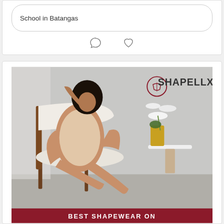[Figure (screenshot): Top portion of a social media post card showing text 'School in Batangas' inside a rounded input/text box, with comment bubble and heart icons below]
[Figure (photo): Advertisement for Shapellx shapewear brand showing a woman in beige shapewear sitting in a wooden rocking chair, with white orchid flowers in background and gold/marble side table. Shapellx logo in top right. Bottom red banner reads 'BEST SHAPEWEAR ON']